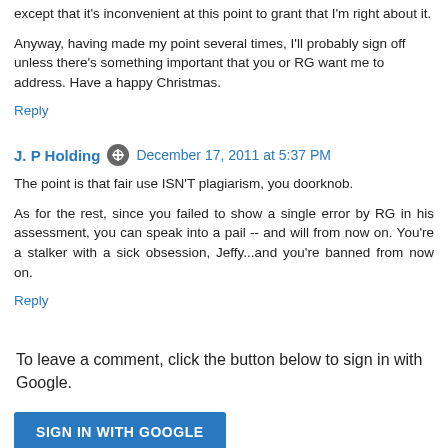except that it's inconvenient at this point to grant that I'm right about it.
Anyway, having made my point several times, I'll probably sign off unless there's something important that you or RG want me to address. Have a happy Christmas.
Reply
J. P Holding  December 17, 2011 at 5:37 PM
The point is that fair use ISN'T plagiarism, you doorknob.
As for the rest, since you failed to show a single error by RG in his assessment, you can speak into a pail -- and will from now on. You're a stalker with a sick obsession, Jeffy...and you're banned from now on.
Reply
To leave a comment, click the button below to sign in with Google.
SIGN IN WITH GOOGLE